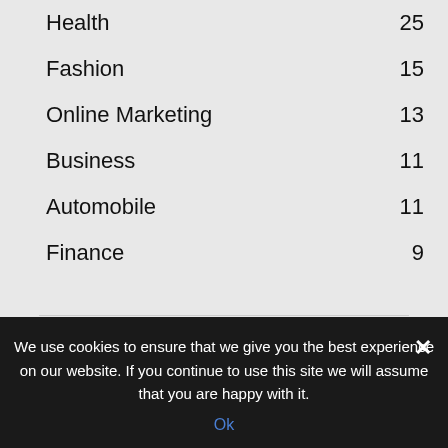Health 25
Fashion 15
Online Marketing 13
Business 11
Automobile 11
Finance 9
[Figure (logo): ContributionBlog logo with hexagon C icon in dark blue and 'ontributionBlog' in blue text]
We use cookies to ensure that we give you the best experience on our website. If you continue to use this site we will assume that you are happy with it.
Ok